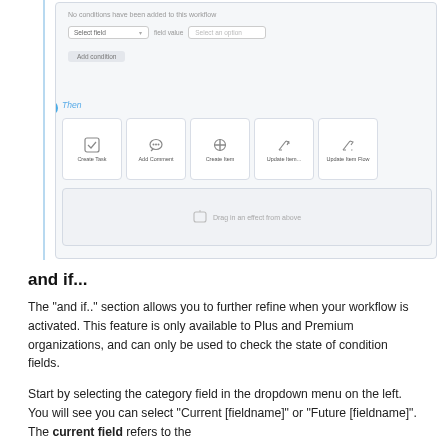[Figure (screenshot): Workflow builder screenshot showing a conditions panel with 'No conditions have been added to this workflow' message, a Select field dropdown, field value selector, Add condition button. Below is a step 3 'Then' section with five action cards: Create Task, Add Comment, Create Item, Update Item, Update Item Flow. Below that is a drag-and-drop drop zone reading 'Drag in an effect from above'.]
and if...
The "and if.." section allows you to further refine when your workflow is activated. This feature is only available to Plus and Premium organizations, and can only be used to check the state of condition fields.
Start by selecting the category field in the dropdown menu on the left. You will see you can select "Current [fieldname]" or "Future [fieldname]". The current field refers to the